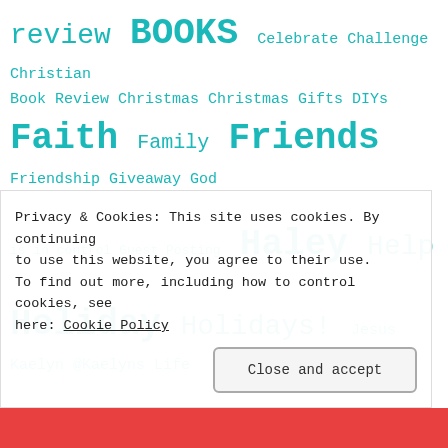review BOOKS Celebrate Challenge Christian Book Review Christmas Christmas Gifts DIYs Faith Family Friends Friendship Giveaway God is in control Guest Posting Haley Help Holiday Holidays! Jesus Kaelyn @Kaelyns Life life Life Update Lists Monthly Reads My Life My Life of Faith My Thoughts News Organization Prayer Q&A Reading [partial] [partial] Tag [partial]
Privacy & Cookies: This site uses cookies. By continuing to use this website, you agree to their use. To find out more, including how to control cookies, see here: Cookie Policy
Close and accept